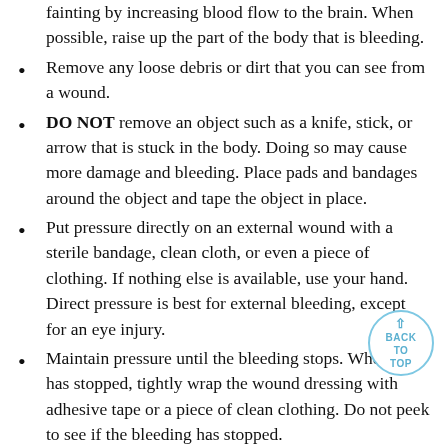fainting by increasing blood flow to the brain. When possible, raise up the part of the body that is bleeding.
Remove any loose debris or dirt that you can see from a wound.
DO NOT remove an object such as a knife, stick, or arrow that is stuck in the body. Doing so may cause more damage and bleeding. Place pads and bandages around the object and tape the object in place.
Put pressure directly on an external wound with a sterile bandage, clean cloth, or even a piece of clothing. If nothing else is available, use your hand. Direct pressure is best for external bleeding, except for an eye injury.
Maintain pressure until the bleeding stops. When it has stopped, tightly wrap the wound dressing with adhesive tape or a piece of clean clothing. Do not peek to see if the bleeding has stopped.